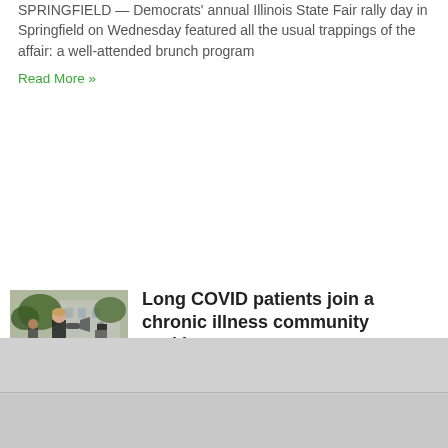SPRINGFIELD — Democrats' annual Illinois State Fair rally day in Springfield on Wednesday featured all the usual trappings of the affair: a well-attended brunch program
Read More »
[Figure (photo): Outdoor protest or event scene with a person holding a megaphone, trees and a building in the background]
Long COVID patients join a chronic illness community seeking answers
Tanya Hovey came down with COVID in April 2020. Before the infection, she ran a photography business, was active in her church, loved to garden
Read More »